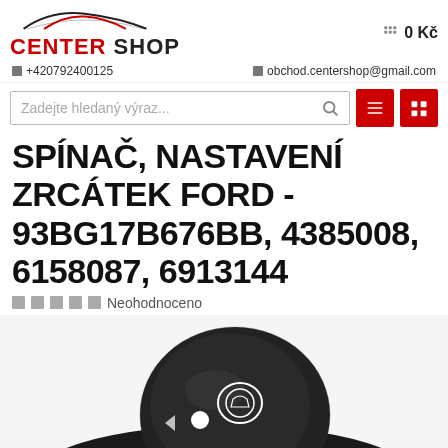CENTER SHOP | +420792400125 | obchod.centershop@gmail.com | 0 Kč
Zadejte hledaný výraz...
SPÍNAČ, NASTAVENÍ ZRCÁTEK FORD - 93BG17B676BB, 4385008, 6158087, 6913144
Neohodnoceno
[Figure (photo): Close-up photo of a black Ford mirror adjustment switch knob with white icons on dark background]